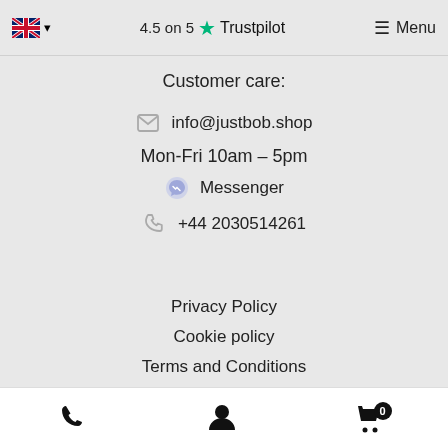🇬🇧 ▾   4.5 on 5 ★ Trustpilot   ☰ Menu
Customer care:
✉ info@justbob.shop
Mon-Fri 10am – 5pm
Messenger
+44 2030514261
Privacy Policy
Cookie policy
Terms and Conditions
About Us
Contacts
📞  👤  🛒 0